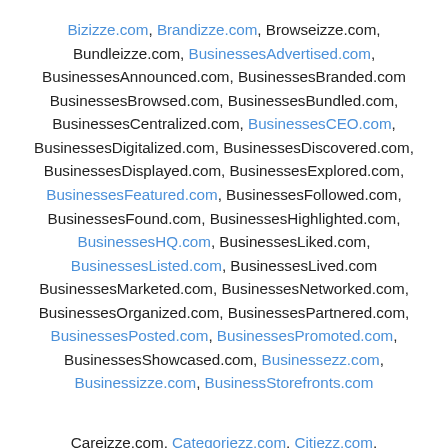Bizizze.com, Brandizze.com, Browseizze.com, Bundleizze.com, BusinessesAdvertised.com, BusinessesAnnounced.com, BusinessesBranded.com BusinessesBrowsed.com, BusinessesBundled.com, BusinessesCentralized.com, BusinessesCEO.com, BusinessesDigitalized.com, BusinessesDiscovered.com, BusinessesDisplayed.com, BusinessesExplored.com, BusinessesFeatured.com, BusinessesFollowed.com, BusinessesFound.com, BusinessesHighlighted.com, BusinessesHQ.com, BusinessesLiked.com, BusinessesListed.com, BusinessesLived.com BusinessesMarketed.com, BusinessesNetworked.com, BusinessesOrganized.com, BusinessesPartnered.com, BusinessesPosted.com, BusinessesPromoted.com, BusinessesShowcased.com, Businessezz.com, Businessizze.com, BusinessStorefronts.com
Careizze.com, Categoriezz.com, Citiezz.com, CityAdvertised.com, CityAnnounced.com, CityBrowsed.com,